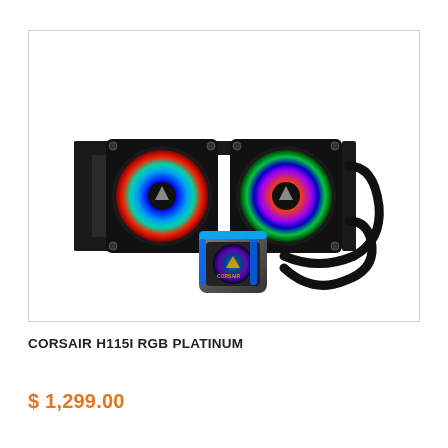[Figure (photo): Corsair H115i RGB Platinum liquid CPU cooler with two RGB fans and RGB pump head, shown on white background]
CORSAIR H115I RGB PLATINUM
$ 1,299.00